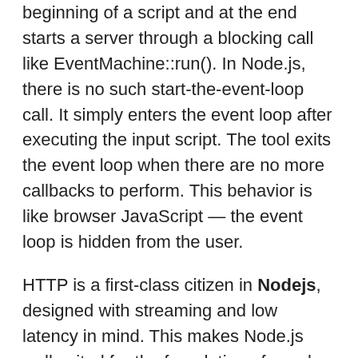beginning of a script and at the end starts a server through a blocking call like EventMachine::run(). In Node.js, there is no such start-the-event-loop call. It simply enters the event loop after executing the input script. The tool exits the event loop when there are no more callbacks to perform. This behavior is like browser JavaScript — the event loop is hidden from the user.
HTTP is a first-class citizen in Nodejs, designed with streaming and low latency in mind. This makes Node.js well suited for the foundation of a web library or framework.
Just because Nodejs is designed without threads, doesn't mean you cannot take advantage of multiple cores in your environment. Child processes can be spawned by using child_process.fork() API, and are designed to be easy to communicate with. Built upon that same interface is the cluster module, which allows